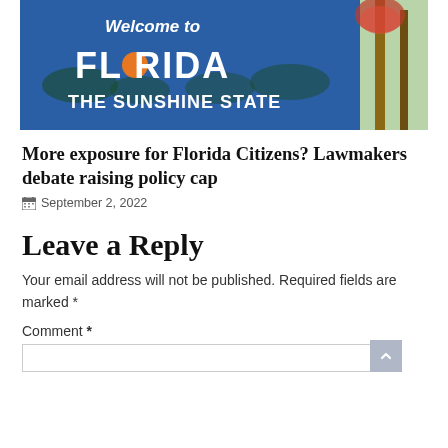[Figure (photo): Welcome to Florida - The Sunshine State road sign with palm trees and blue sky in background]
More exposure for Florida Citizens? Lawmakers debate raising policy cap
September 2, 2022
Leave a Reply
Your email address will not be published. Required fields are marked *
Comment *